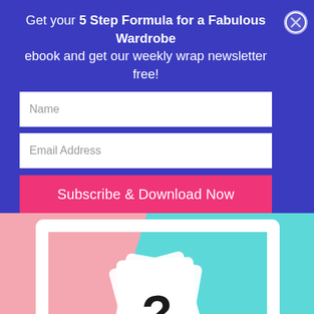Get your 5 Step Formula for a Fabulous Wardrobe ebook and get our weekly wrap newsletter free!
[Figure (other): Close button (X in circle) in top right corner of the popup banner]
Name
Email Address
Subscribe & Download Now
[Figure (photo): Photo with pink and teal background, a white picture frame in center, and white cards with a question mark inside]